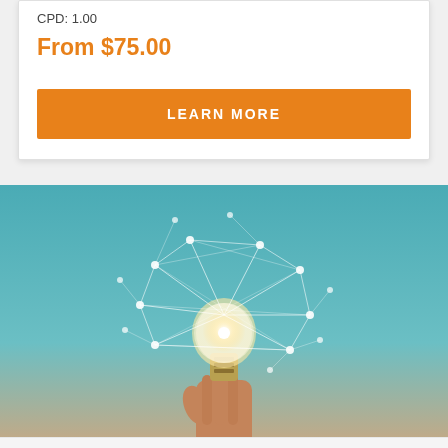CPD: 1.00
From $75.00
LEARN MORE
[Figure (photo): A hand holding a glowing light bulb with a network of connected white dots and lines forming a geometric pattern overlaid on a teal-to-beige gradient background.]